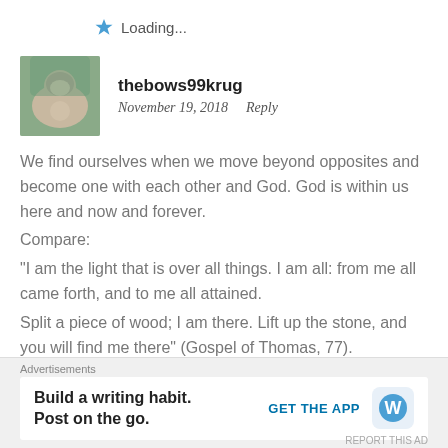Loading...
thebows99krug
November 19, 2018   Reply
We find ourselves when we move beyond opposites and become one with each other and God. God is within us here and now and forever.
Compare:
"I am the light that is over all things. I am all: from me all came forth, and to me all attained.
Split a piece of wood; I am there. Lift up the stone, and you will find me there" (Gospel of Thomas, 77).
Advertisements
Build a writing habit.
Post on the go.
GET THE APP
REPORT THIS AD